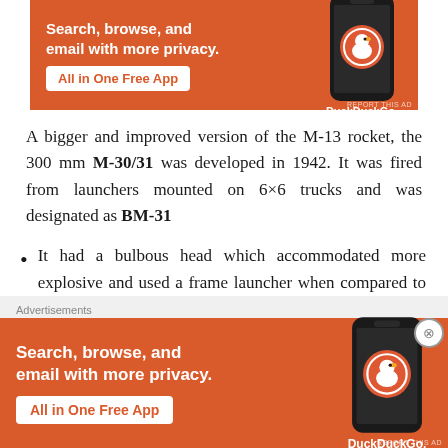[Figure (screenshot): DuckDuckGo advertisement banner: orange background, text 'Search, browse, and email with more privacy. All in One Free App' with phone image showing DuckDuckGo app logo]
A bigger and improved version of the M-13 rocket, the 300 mm M-30/31 was developed in 1942. It was fired from launchers mounted on 6×6 trucks and was designated as BM-31
It had a bulbous head which accommodated more explosive and used a frame launcher when compared to the rail launcher of the M-13
[Figure (screenshot): DuckDuckGo advertisement banner (bottom): orange background, text 'Search, browse, and email with more privacy. All in One Free App' with phone image showing DuckDuckGo app logo]